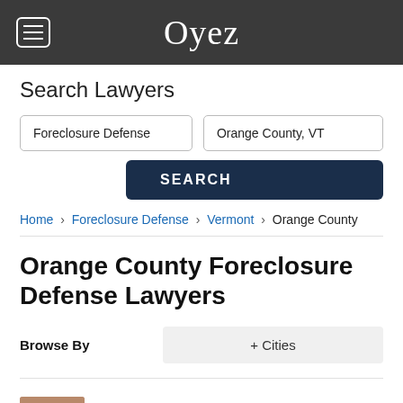Oyez
Search Lawyers
Foreclosure Defense | Orange County, VT
SEARCH
Home › Foreclosure Defense › Vermont › Orange County
Orange County Foreclosure Defense Lawyers
Browse By   + Cities
Raymond J. Obuchowski